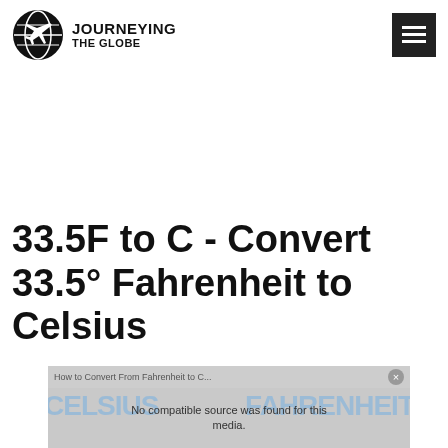Journeying The Globe
33.5F to C - Convert 33.5° Fahrenheit to Celsius
[Figure (screenshot): Video player placeholder showing 'How to Convert From Fahrenheit to C...' with message 'No compatible source was found for this media.' and watermark text CELSIUS and FAHRENHEIT in background]